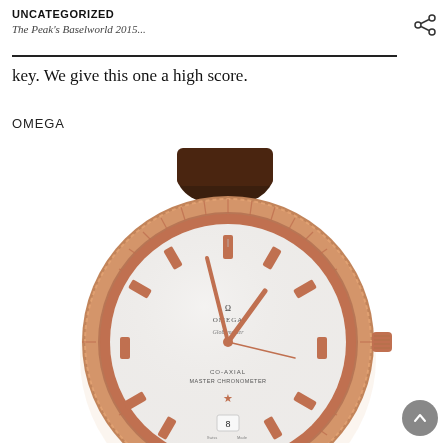UNCATEGORIZED
The Peak's Baselworld 2015...
key. We give this one a high score.
OMEGA
[Figure (photo): Omega Globemaster watch with rose gold case, fluted bezel, silver dial showing CO-AXIAL MASTER CHRONOMETER text and a star emblem, date window at 6 o'clock showing 8, worn on a dark brown leather strap.]